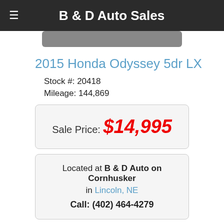B & D Auto Sales
2015 Honda Odyssey 5dr LX
Stock #: 20418
Mileage: 144,869
Sale Price: $14,995
Located at B & D Auto on Cornhusker in Lincoln, NE
Call: (402) 464-4279
Request More Info
Schedule Test Drive